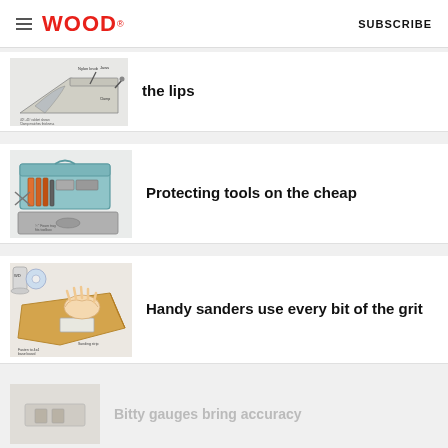WOOD® SUBSCRIBE
[Figure (illustration): Technical drawing of a router or woodworking jig with labels showing parts including clamps, nylon knob, and related hardware — partially cropped at top]
the lips
[Figure (illustration): Illustration of a toolbox open with various tools including chisels and wrenches, plus a gray foam pad below]
Protecting tools on the cheap
[Figure (illustration): Illustration of hands sanding on sandpaper with a white block sander, plus a roll of tape and a can of product nearby]
Handy sanders use every bit of the grit
[Figure (illustration): Partially visible illustration at bottom of page — small thumbnail of woodworking tool or gauge]
Bitty gauges bring accuracy